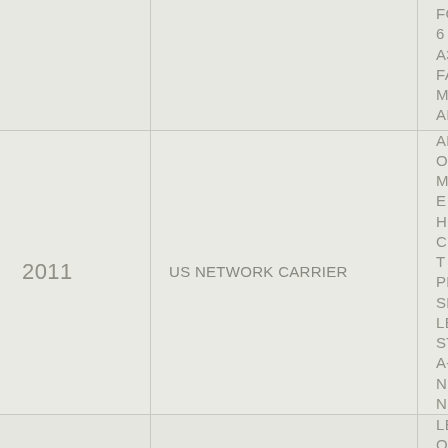| Year | Client | Description |
| --- | --- | --- |
|  |  | FOR 6 A320 FA... AIRCRAFT |
| 2011 | US NETWORK CARRIER | ADVISORY ON MAINTENANCE HOURLY COST PROGRAM SE... STRUCTURE A... NEGOTIATION... |
| 2011 | EUROPEAN NETWORK CARRIER | LEASE OF 8 M... AIRCRAFT |
| 2011 | US LOW COST CARRIER | ACQUISITION NEW 737NG/M... AIRCRAFT |